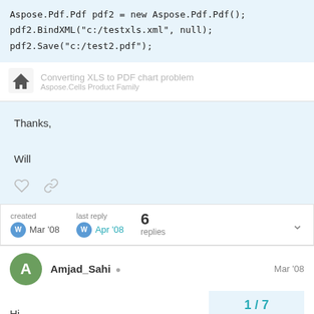Aspose.Pdf.Pdf pdf2 = new Aspose.Pdf.Pdf();
pdf2.BindXML("c:/testxls.xml", null);
pdf2.Save("c:/test2.pdf");
Converting XLS to PDF chart problem · Aspose.Cells Product Family
Thanks,

Will
created Mar '08   last reply Apr '08   6 replies
Amjad_Sahi   Mar '08
Hi,
1 / 7